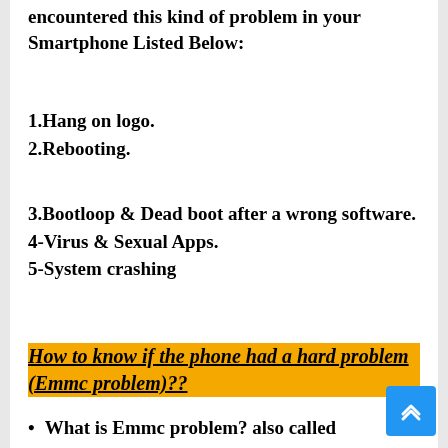encountered this kind of problem in your Smartphone Listed Below:
1.Hang on logo.
2.Rebooting.
3.Bootloop & Dead boot after a wrong software.
4-Virus & Sexual Apps.
5-System crashing
How to know if the phone had a hard problem (Emmc problem)??
What is Emmc problem? also called